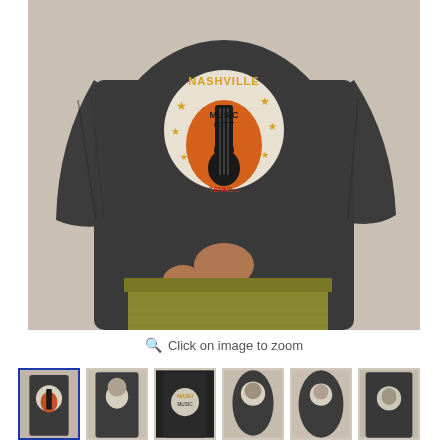[Figure (photo): Woman wearing a dark charcoal acid-wash long-sleeve sweatshirt with a Nashville Music City guitar graphic on the front, paired with olive/mustard tweed pants. The photo is cropped from the neck down, showing the torso and upper legs.]
Click on image to zoom
[Figure (photo): Thumbnail 1 (active/selected): close-up of model wearing Nashville sweatshirt]
[Figure (photo): Thumbnail 2: model wearing Nashville sweatshirt, wider shot]
[Figure (photo): Thumbnail 3: dark background shot of Nashville graphic sweatshirt]
[Figure (photo): Thumbnail 4: model wearing Nashville sweatshirt, different pose]
[Figure (photo): Thumbnail 5: model wearing Nashville sweatshirt, lighter pose]
[Figure (photo): Thumbnail 6: model wearing Nashville sweatshirt, side/back view]